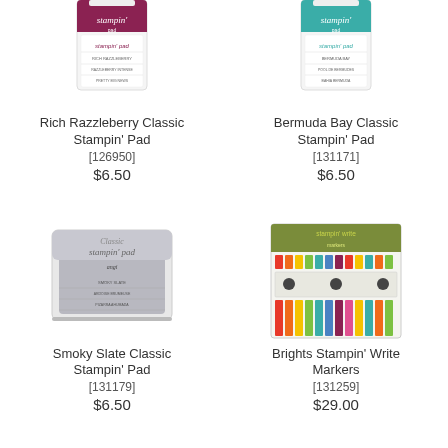[Figure (photo): Rich Razzleberry Classic Stampin' Pad product image (partially cropped, top portion visible)]
Rich Razzleberry Classic Stampin' Pad
[126950]
$6.50
[Figure (photo): Bermuda Bay Classic Stampin' Pad product image (partially cropped, top portion visible)]
Bermuda Bay Classic Stampin' Pad
[131171]
$6.50
[Figure (photo): Smoky Slate Classic Stampin' Pad product image]
Smoky Slate Classic Stampin' Pad
[131179]
$6.50
[Figure (photo): Brights Stampin' Write Markers product image]
Brights Stampin' Write Markers
[131259]
$29.00
[Figure (photo): Partially visible product image bottom row left]
[Figure (photo): Partially visible product image bottom row right]